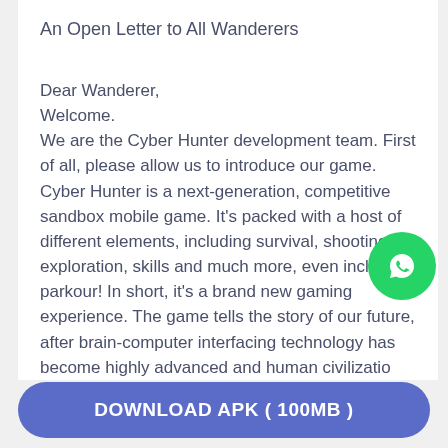An Open Letter to All Wanderers
Dear Wanderer,
Welcome.
We are the Cyber Hunter development team. First of all, please allow us to introduce our game. Cyber Hunter is a next-generation, competitive sandbox mobile game. It's packed with a host of different elements, including survival, shooting, exploration, skills and much more, even including parkour! In short, it's a brand new gaming experience. The game tells the story of our future, after brain-computer interfacing technology has become highly advanced and human civilization has experienced another evolutionary leap, during which...
[Figure (logo): WhatsApp floating button icon (green circle with white chat bubble)]
DOWNLOAD APK ( 100MB )